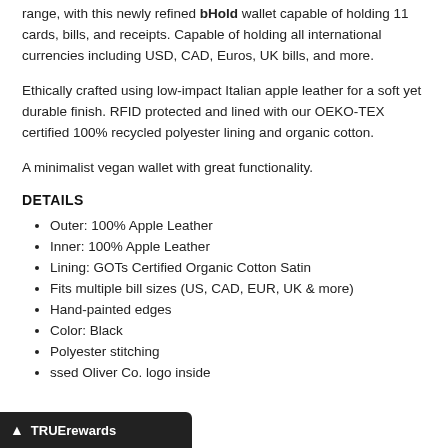range, with this newly refined bHold wallet capable of holding 11 cards, bills, and receipts. Capable of holding all international currencies including USD, CAD, Euros, UK bills, and more.
Ethically crafted using low-impact Italian apple leather for a soft yet durable finish. RFID protected and lined with our OEKO-TEX certified 100% recycled polyester lining and organic cotton.
A minimalist vegan wallet with great functionality.
DETAILS
Outer: 100% Apple Leather
Inner: 100% Apple Leather
Lining: GOTs Certified Organic Cotton Satin
Fits multiple bill sizes (US, CAD, EUR, UK & more)
Hand-painted edges
Color: Black
Polyester stitching
ssed Oliver Co. logo inside
TRUErewards